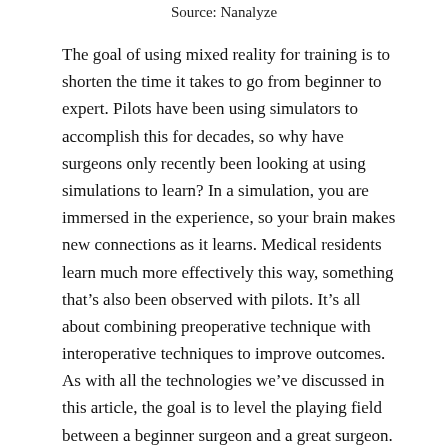Source: Nanalyze
The goal of using mixed reality for training is to shorten the time it takes to go from beginner to expert. Pilots have been using simulators to accomplish this for decades, so why have surgeons only recently been looking at using simulations to learn? In a simulation, you are immersed in the experience, so your brain makes new connections as it learns. Medical residents learn much more effectively this way, something that’s also been observed with pilots. It’s all about combining preoperative technique with interoperative techniques to improve outcomes. As with all the technologies we’ve discussed in this article, the goal is to level the playing field between a beginner surgeon and a great surgeon.
Conclusion